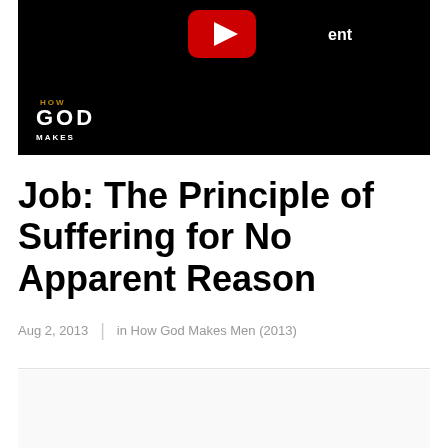[Figure (screenshot): YouTube video thumbnail with black background showing YouTube play button icon and partial text 'ent'. Bottom left shows 'HOW GOD MAKES' branding text in gold/white.]
Job: The Principle of Suffering for No Apparent Reason
Aug 2, 2013  |  in How God Makes Men (2013)